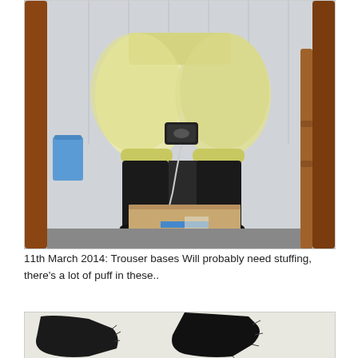[Figure (photo): Mirror selfie showing a person wearing puffy light yellow/cream trousers gathered at the knee and black knee-high socks or boots, standing in front of a mirror with a wooden frame. A blue cup/container is visible on the left, and cardboard boxes are on the floor.]
11th March 2014: Trouser bases Will probably need stuffing, there’s a lot of puff in these..
[Figure (photo): Close-up photo of black fabric pieces, possibly trouser bases or cuffs, against a light background.]